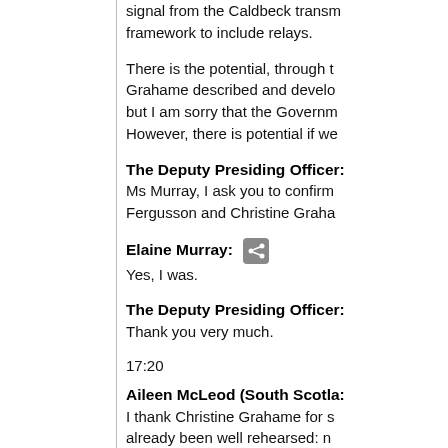signal from the Caldbeck transm... framework to include relays.
There is the potential, through t... However, there is potential if we...
The Deputy Presiding Officer: Ms Murray, I ask you to confirm... Fergusson and Christine Graha...
Elaine Murray: Yes, I was.
The Deputy Presiding Officer: Thank you very much.
17:20
Aileen McLeod (South Scotla...: I thank Christine Grahame for s... already been well rehearsed: n... local or national TV coverage. C... point cannot be made firmly eno...
I ask members to consider this ...